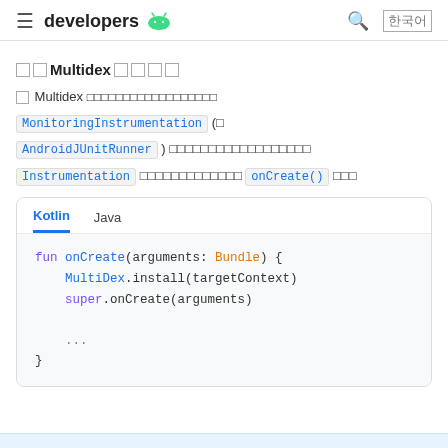≡ developers [Android logo]
□□ Multidex □□□□
□ Multidex □□□□□□□□□□□□□□□□□ MonitoringInstrumentation (□ AndroidJUnitRunner ) □□□□□□□□□□□□□□□□□ Instrumentation □□□□□□□□□□□□□ onCreate() □□□
[Figure (screenshot): Code block with Kotlin/Java tabs showing Kotlin code: fun onCreate(arguments: Bundle) { MultiDex.install(targetContext) super.onCreate(arguments) ... }]